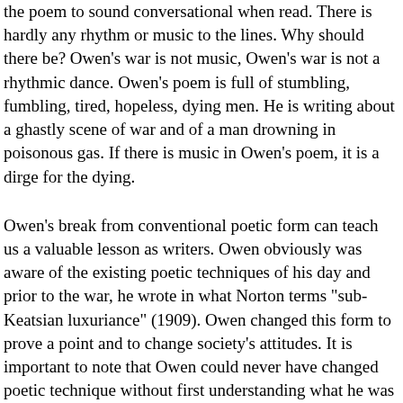the poem to sound conversational when read. There is hardly any rhythm or music to the lines. Why should there be? Owen's war is not music, Owen's war is not a rhythmic dance. Owen's poem is full of stumbling, fumbling, tired, hopeless, dying men. He is writing about a ghastly scene of war and of a man drowning in poisonous gas. If there is music in Owen's poem, it is a dirge for the dying.
Owen's break from conventional poetic form can teach us a valuable lesson as writers. Owen obviously was aware of the existing poetic techniques of his day and prior to the war, he wrote in what Norton terms "sub-Keatsian luxuriance" (1909). Owen changed this form to prove a point and to change society's attitudes. It is important to note that Owen could never have changed poetic technique without first understanding what he was changing. We must remember that